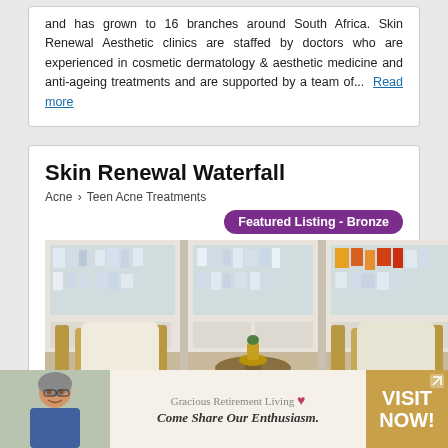and has grown to 16 branches around South Africa. Skin Renewal Aesthetic clinics are staffed by doctors who are experienced in cosmetic dermatology & aesthetic medicine and anti-ageing treatments and are supported by a team of...  Read more
Skin Renewal Waterfall
Acne > Teen Acne Treatments
Featured Listing - Bronze
[Figure (photo): Interior of Skin Renewal Waterfall clinic showing product display cabinets and two gold accent chairs with cushions around a small round table with a metallic vase]
13 Karkloof Crescent, Jukskei View Ext 124, Waterfall City
Midrand, Midrand CBD 1685, Gauteng
[Figure (photo): Advertisement banner for Gracious Retirement Living with an older woman smiling, text reads Come Share Our Enthusiasm and VISIT NOW!]